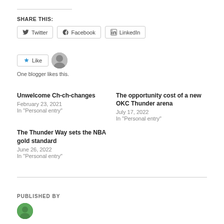SHARE THIS:
Twitter  Facebook  LinkedIn
Like  One blogger likes this.
Unwelcome Ch-ch-changes
February 23, 2021
In "Personal entry"
The opportunity cost of a new OKC Thunder arena
July 17, 2022
In "Personal entry"
The Thunder Way sets the NBA gold standard
June 26, 2022
In "Personal entry"
PUBLISHED BY